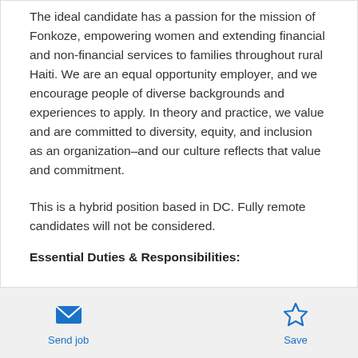The ideal candidate has a passion for the mission of Fonkoze, empowering women and extending financial and non-financial services to families throughout rural Haiti. We are an equal opportunity employer, and we encourage people of diverse backgrounds and experiences to apply. In theory and practice, we value and are committed to diversity, equity, and inclusion as an organization–and our culture reflects that value and commitment.
This is a hybrid position based in DC. Fully remote candidates will not be considered.
Essential Duties & Responsibilities:
Send job | Save